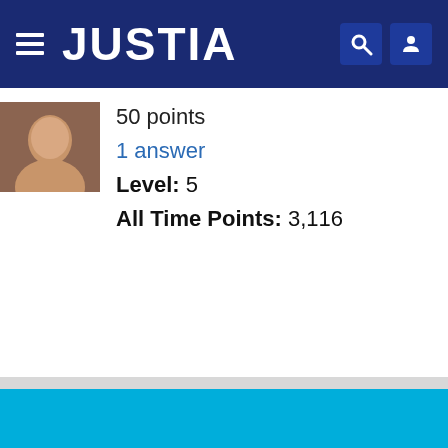JUSTIA
50 points
1 answer
Level: 5
All Time Points: 3,116
[Figure (other): Large solid light blue background section filling the lower portion of the page]